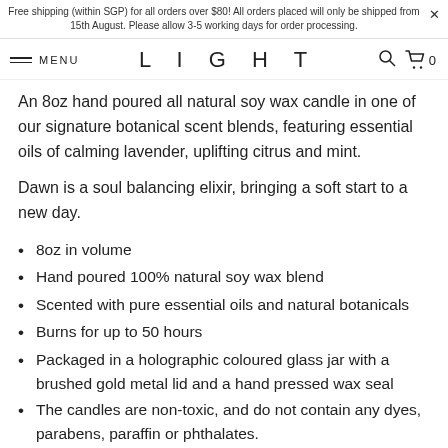Free shipping (within SGP) for all orders over $80! All orders placed will only be shipped from 15th August. Please allow 3-5 working days for order processing.
MENU   L I G H T   🔍 🛒 0
An 8oz hand poured all natural soy wax candle in one of our signature botanical scent blends, featuring essential oils of calming lavender, uplifting citrus and mint.
Dawn is a soul balancing elixir, bringing a soft start to a new day.
8oz in volume
Hand poured 100% natural soy wax blend
Scented with pure essential oils and natural botanicals
Burns for up to 50 hours
Packaged in a holographic coloured glass jar with a brushed gold metal lid and a hand pressed wax seal
The candles are non-toxic, and do not contain any dyes, parabens, paraffin or phthalates.